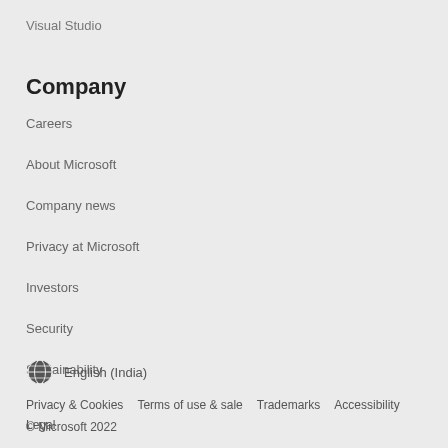Visual Studio
Company
Careers
About Microsoft
Company news
Privacy at Microsoft
Investors
Security
Sustainability
English (India)
Privacy & Cookies   Terms of use & sale   Trademarks   Accessibility   Legal   © Microsoft 2022